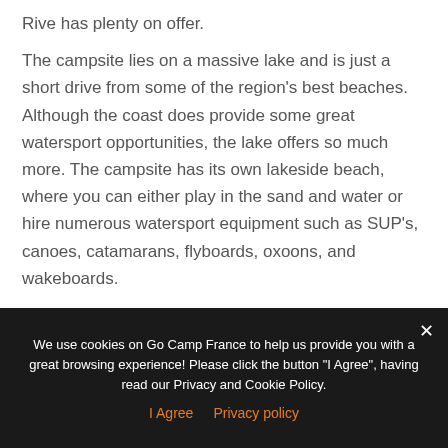Rive has plenty on offer.
The campsite lies on a massive lake and is just a short drive from some of the region's best beaches. Although the coast does provide some great watersport opportunities, the lake offers so much more. The campsite has its own lakeside beach, where you can either play in the sand and water or hire numerous watersport equipment such as SUP's, canoes, catamarans, flyboards, oxoons, and wakeboards.
On the opposite side of the lake, you'll also find a large
We use cookies on Go Camp France to help us provide you with a great browsing experience! Please click the button "I Agree", having read our Privacy and Cookie Policy.
I Agree   Privacy policy